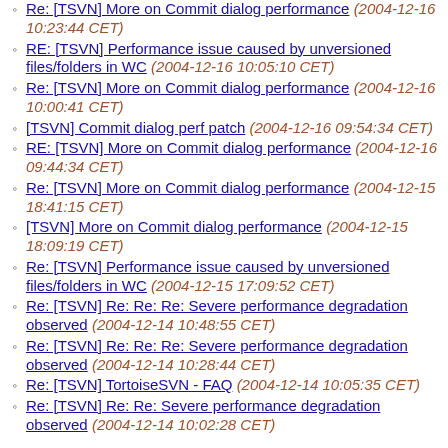Re: [TSVN] More on Commit dialog performance (2004-12-16 10:23:44 CET)
RE: [TSVN] Performance issue caused by unversioned files/folders in WC (2004-12-16 10:05:10 CET)
Re: [TSVN] More on Commit dialog performance (2004-12-16 10:00:41 CET)
[TSVN] Commit dialog perf patch (2004-12-16 09:54:34 CET)
RE: [TSVN] More on Commit dialog performance (2004-12-16 09:44:34 CET)
Re: [TSVN] More on Commit dialog performance (2004-12-15 18:41:15 CET)
[TSVN] More on Commit dialog performance (2004-12-15 18:09:19 CET)
Re: [TSVN] Performance issue caused by unversioned files/folders in WC (2004-12-15 17:09:52 CET)
Re: [TSVN] Re: Re: Re: Severe performance degradation observed (2004-12-14 10:48:55 CET)
Re: [TSVN] Re: Re: Re: Severe performance degradation observed (2004-12-14 10:28:44 CET)
Re: [TSVN] TortoiseSVN - FAQ (2004-12-14 10:05:35 CET)
Re: [TSVN] Re: Re: Severe performance degradation observed (2004-12-14 10:02:28 CET)